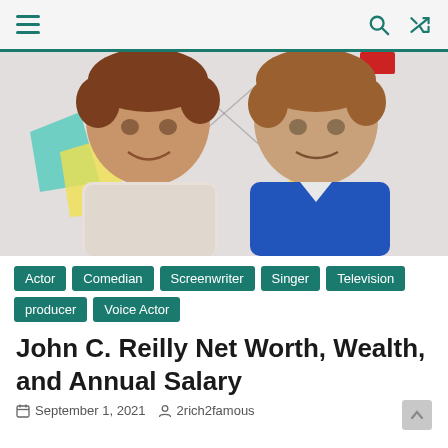Navigation header with hamburger menu, search and shuffle icons
[Figure (photo): Two men with curly reddish-brown hair posing together in front of a colorful illustrated backdrop with stars. Man on left wearing a patterned shirt, man on right in a blue shirt.]
Actor
Comedian
Screenwriter
Singer
Television
producer
Voice Actor
John C. Reilly Net Worth, Wealth, and Annual Salary
September 1, 2021   2rich2famous